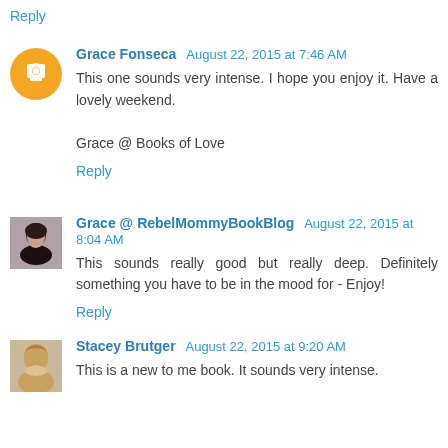Reply
Grace Fonseca August 22, 2015 at 7:46 AM
This one sounds very intense. I hope you enjoy it. Have a lovely weekend.

Grace @ Books of Love
Reply
Grace @ RebelMommyBookBlog August 22, 2015 at 8:04 AM
This sounds really good but really deep. Definitely something you have to be in the mood for - Enjoy!
Reply
Stacey Brutger August 22, 2015 at 9:20 AM
This is a new to me book. It sounds very intense.